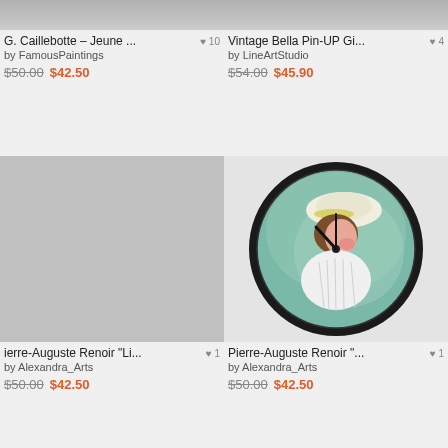[Figure (photo): Partial image of G. Caillebotte painting (cropped, top portion only)]
G. Caillebotte – Jeune ... ♥ 10
by FamousPaintings
$50.00 $42.50
[Figure (photo): Partial image of Vintage Bella Pin-UP Girl (cropped, top portion only)]
Vintage Bella Pin-UP Gi... ♥ 4
by LineArtStudio
$54.00 $45.90
[Figure (photo): Pierre-Auguste Renoir product image placeholder (grey rectangle)]
ierre-Auguste Renoir "Li... ♥ 1
by Alexandra_Arts
$50.00 $42.50
[Figure (photo): Wall clock featuring Pierre-Auguste Renoir painting of a young woman with a hat]
Pierre-Auguste Renoir "... ♥ 1
by Alexandra_Arts
$50.00 $42.50